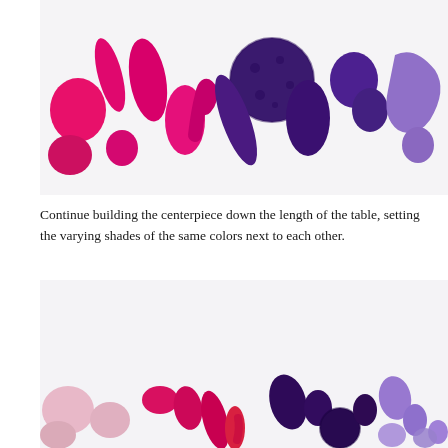[Figure (photo): Painted vegetable/gourd objects arranged in a row transitioning from hot pink/magenta on the left to deep purple and light purple on the right, photographed on a white background.]
Continue building the centerpiece down the length of the table, setting the varying shades of the same colors next to each other.
[Figure (photo): Painted vegetable/gourd objects arranged in a row at the bottom of the frame, transitioning from pale pink on the left through hot pink and deep purple to light lavender on the right, photographed on a white background.]